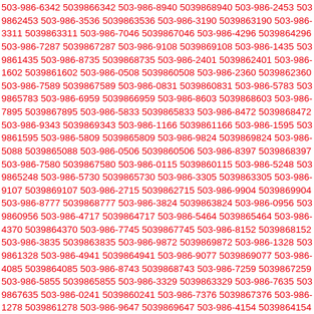503-986-6342 5039866342 503-986-8940 5039868940 503-986-2453 5039862453 503-986-3536 5039863536 503-986-3190 5039863190 503-986-3311 5039863311 503-986-7046 5039867046 503-986-4296 5039864296 503-986-7287 5039867287 503-986-9108 5039869108 503-986-1435 5039861435 503-986-8735 5039868735 503-986-2401 5039862401 503-986-1602 5039861602 503-986-0508 5039860508 503-986-2360 5039862360 503-986-7589 5039867589 503-986-0831 5039860831 503-986-5783 5039865783 503-986-6959 5039866959 503-986-8603 5039868603 503-986-7895 5039867895 503-986-5833 5039865833 503-986-8472 5039868472 503-986-9343 5039869343 503-986-1166 5039861166 503-986-1595 5039861595 503-986-5809 5039865809 503-986-9824 5039869824 503-986-5088 5039865088 503-986-0506 5039860506 503-986-8397 5039868397 503-986-7580 5039867580 503-986-0115 5039860115 503-986-5248 5039865248 503-986-5730 5039865730 503-986-3305 5039863305 503-986-9107 5039869107 503-986-2715 5039862715 503-986-9904 5039869904 503-986-8777 5039868777 503-986-3824 5039863824 503-986-0956 5039860956 503-986-4717 5039864717 503-986-5464 5039865464 503-986-4370 5039864370 503-986-7745 5039867745 503-986-8152 5039868152 503-986-3835 5039863835 503-986-9872 5039869872 503-986-1328 5039861328 503-986-4941 5039864941 503-986-9077 5039869077 503-986-4085 5039864085 503-986-8743 5039868743 503-986-7259 5039867259 503-986-5855 5039865855 503-986-3329 5039863329 503-986-7635 5039867635 503-986-0241 5039860241 503-986-7376 5039867376 503-986-1278 5039861278 503-986-9647 5039869647 503-986-4154 5039864154 503-986-1456